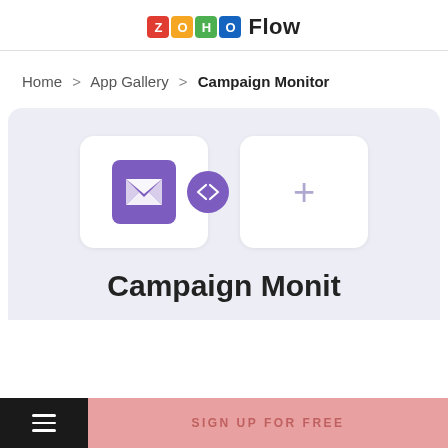ZOHO Flow
Home > App Gallery > Campaign Monitor
[Figure (screenshot): Campaign Monitor app integration card showing Campaign Monitor icon (purple envelope) connected via double-arrow circle to a plus sign card for adding another app, on a light lavender background]
Campaign Monit
SIGN UP FOR FREE